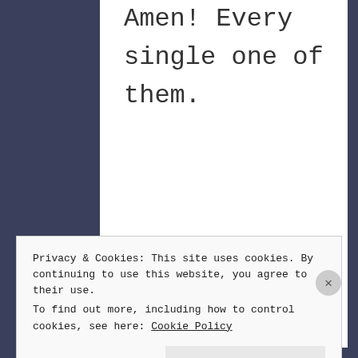Amen! Every single one of them.
★ Liked by 1 person
Privacy & Cookies: This site uses cookies. By continuing to use this website, you agree to their use.
To find out more, including how to control cookies, see here: Cookie Policy
Close and accept